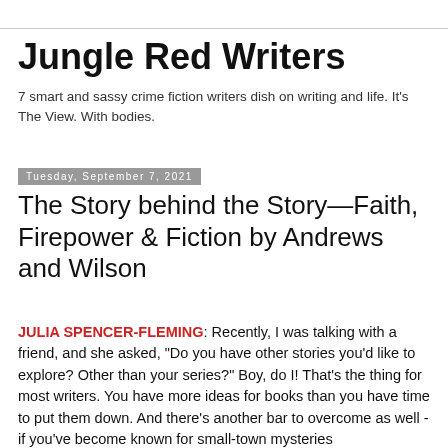Jungle Red Writers
7 smart and sassy crime fiction writers dish on writing and life. It's The View. With bodies.
Tuesday, September 7, 2021
The Story behind the Story—Faith, Firepower & Fiction by Andrews and Wilson
JULIA SPENCER-FLEMING: Recently, I was talking with a friend, and she asked, "Do you have other stories you'd like to explore? Other than your series?" Boy, do I! That's the thing for most writers. You have more ideas for books than you have time to put them down. And there's another bar to overcome as well - if you've become known for small-town mysteries